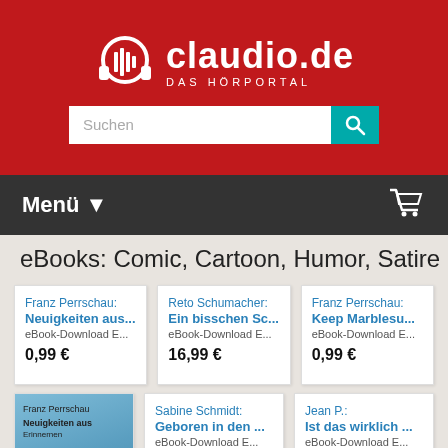[Figure (logo): Claudio.de Das Hörportal logo with headphones icon on red background]
[Figure (screenshot): Search bar with teal search button]
Menü ▼
[Figure (illustration): Shopping cart icon]
eBooks: Comic, Cartoon, Humor, Satire
Franz Perrschau: Neuigkeiten aus... eBook-Download E... 0,99 €
Reto Schumacher: Ein bisschen Sc... eBook-Download E... 16,99 €
Franz Perrschau: Keep Marblesu... eBook-Download E... 0,99 €
[Figure (illustration): Blue book cover for Franz Perrschau]
Sabine Schmidt: Geboren in den ... eBook-Download E...
Jean P.: Ist das wirklich ... eBook-Download E...